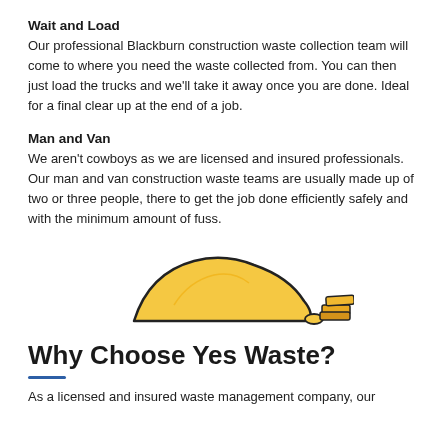Wait and Load
Our professional Blackburn construction waste collection team will come to where you need the waste collected from. You can then just load the trucks and we'll take it away once you are done. Ideal for a final clear up at the end of a job.
Man and Van
We aren't cowboys as we are licensed and insured professionals. Our man and van construction waste teams are usually made up of two or three people, there to get the job done efficiently safely and with the minimum amount of fuss.
[Figure (illustration): Illustration of a pile of sand/debris and stacked bricks/planks in yellow and orange tones with black outlines]
Why Choose Yes Waste?
As a licensed and insured waste management company, our